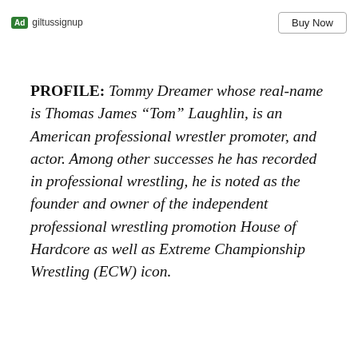Ad giltussignup   Buy Now
PROFILE: Tommy Dreamer whose real-name is Thomas James “Tom” Laughlin, is an American professional wrestler promoter, and actor. Among other successes he has recorded in professional wrestling, he is noted as the founder and owner of the independent professional wrestling promotion House of Hardcore as well as Extreme Championship Wrestling (ECW) icon.